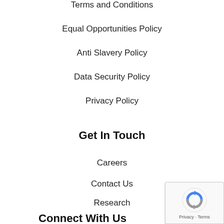Terms and Conditions
Equal Opportunities Policy
Anti Slavery Policy
Data Security Policy
Privacy Policy
Get In Touch
Careers
Contact Us
Research
Connect With Us
[Figure (other): reCAPTCHA badge with spinning arrows icon and Privacy - Terms text]